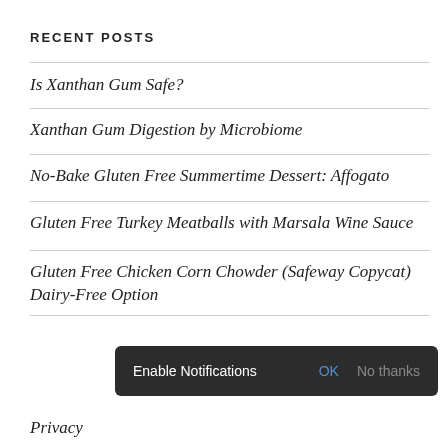RECENT POSTS
Is Xanthan Gum Safe?
Xanthan Gum Digestion by Microbiome
No-Bake Gluten Free Summertime Dessert: Affogato
Gluten Free Turkey Meatballs with Marsala Wine Sauce
Gluten Free Chicken Corn Chowder (Safeway Copycat) Dairy-Free Option
Enable Notifications  OK  No thanks
Privacy